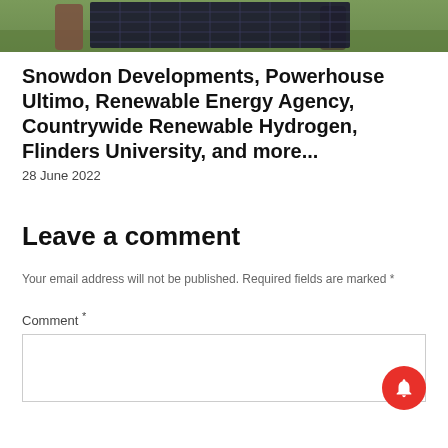[Figure (photo): Photo strip at top showing people holding or standing near solar panels outdoors on grass]
Snowdon Developments, Powerhouse Ultimo, Renewable Energy Agency, Countrywide Renewable Hydrogen, Flinders University, and more...
28 June 2022
Leave a comment
Your email address will not be published. Required fields are marked *
Comment *